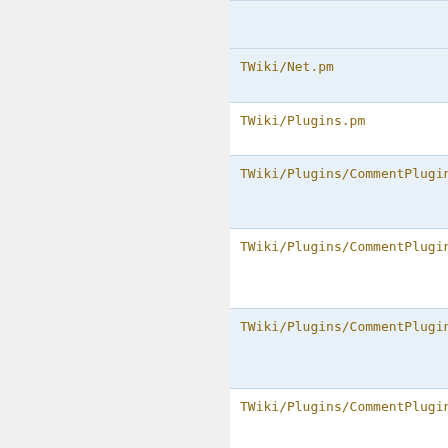TWiki/Net.pm
TWiki/Plugins.pm
TWiki/Plugins/CommentPlugin.pm
TWiki/Plugins/CommentPlugin/Attrs
TWiki/Plugins/CommentPlugin/Comme
TWiki/Plugins/CommentPlugin/Templ